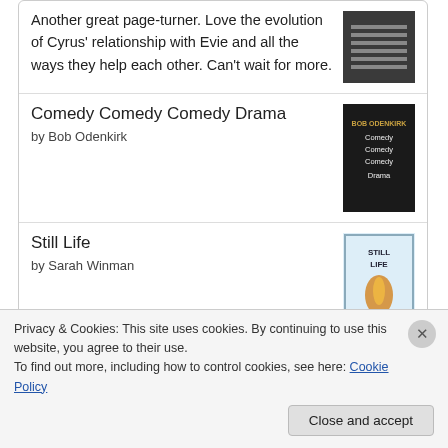Another great page-turner. Love the evolution of Cyrus' relationship with Evie and all the ways they help each other. Can't wait for more.
Comedy Comedy Comedy Drama
by Bob Odenkirk
Still Life
by Sarah Winman
[Figure (logo): goodreads logo inside rounded rectangle button]
Privacy & Cookies: This site uses cookies. By continuing to use this website, you agree to their use. To find out more, including how to control cookies, see here: Cookie Policy
Close and accept